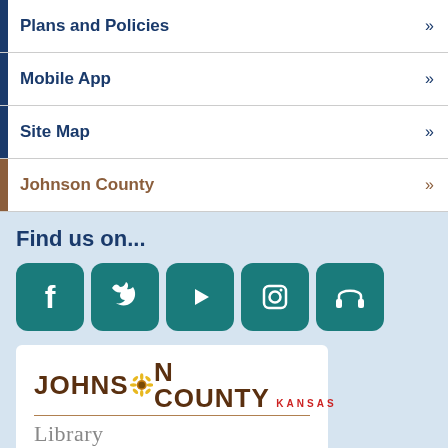Plans and Policies »
Mobile App »
Site Map »
Johnson County »
Find us on...
[Figure (logo): Social media icons: Facebook, Twitter, YouTube, Instagram, Headphones/Audio]
[Figure (logo): Johnson County Kansas Library logo with sunflower]
Support the Library!